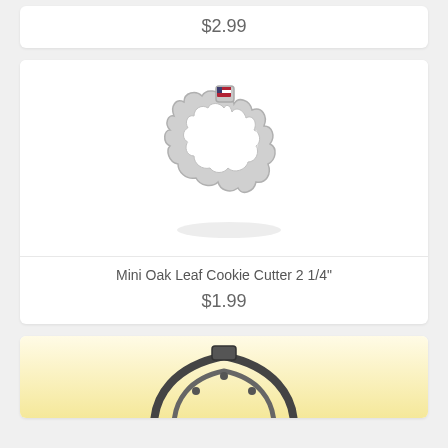$2.99
[Figure (photo): Mini Oak Leaf Cookie Cutter 2 1/4" - silver/tin metal cookie cutter shaped like an oak leaf with a small American flag sticker on the handle tab. White background.]
Mini Oak Leaf Cookie Cutter 2 1/4"
$1.99
[Figure (photo): Partial view of another cookie cutter product, dark metal cutter on yellow/cream background, partially cut off at bottom of page.]